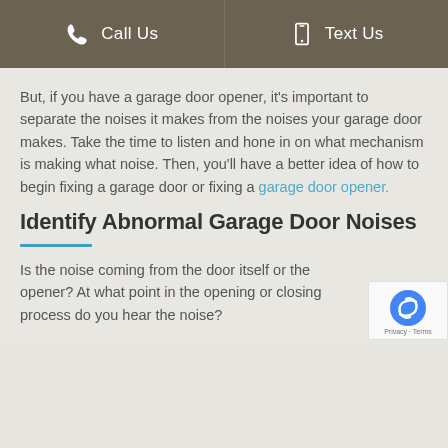Call Us | Text Us
But, if you have a garage door opener, it's important to separate the noises it makes from the noises your garage door makes. Take the time to listen and hone in on what mechanism is making what noise. Then, you'll have a better idea of how to begin fixing a garage door or fixing a garage door opener.
Identify Abnormal Garage Door Noises
Is the noise coming from the door itself or the opener? At what point in the opening or closing process do you hear the noise?